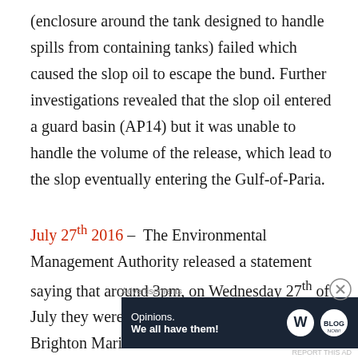(enclosure around the tank designed to handle spills from containing tanks) failed which caused the slop oil to escape the bund. Further investigations revealed that the slop oil entered a guard basin (AP14) but it was unable to handle the volume of the release, which lead to the slop eventually entering the Gulf-of-Paria.
July 27th 2016 – The Environmental Management Authority released a statement saying that around 3pm, on Wednesday 27th of July they were informed of a sheen within the Brighton Marine Sun Area “ B” block
[Figure (other): Advertisement banner: 'Advertisements' label above a dark navy box reading 'Opinions. We all have them!' with WordPress and blog logos on the right. A close (X) button appears in the top-right corner of the ad area.]